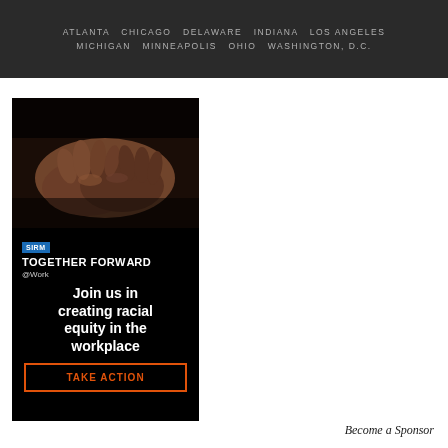ATLANTA  CHICAGO  DELAWARE  INDIANA  LOS ANGELES  MICHIGAN  MINNEAPOLIS  OHIO  WASHINGTON, D.C.
[Figure (infographic): SHRM Together Forward @Work advertisement. Shows clasped hands photo at top on black background. Text reads: SHRM logo, TOGETHER FORWARD @Work, Join us in creating racial equity in the workplace, TAKE ACTION button.]
Become a Sponsor